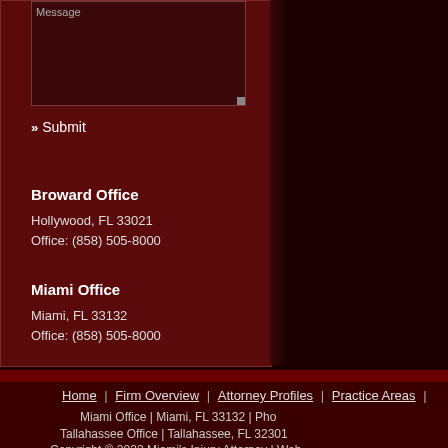Message
Submit
Broward Office
Hollywood, FL 33021
Office: (858) 505-8000
Miami Office
Miami, FL 33132
Office: (858) 505-8000
Home | Firm Overview | Attorney Profiles | Practice Areas |
Miami Office | Miami, FL 33132 | Pho
Tallahassee Office | Tallahassee, FL 32301
Copyright © 2022 Miami's Injury Attorney | Web